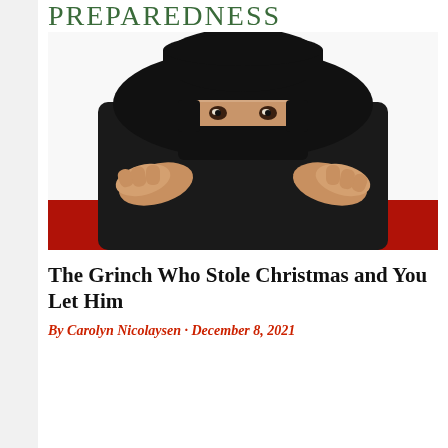PREPAREDNESS
[Figure (photo): A person dressed in all black including a black mask and beanie hat, bending over and opening a red Christmas gift with a red and gold ribbon bow.]
The Grinch Who Stole Christmas and You Let Him
By Carolyn Nicolaysen · December 8, 2021